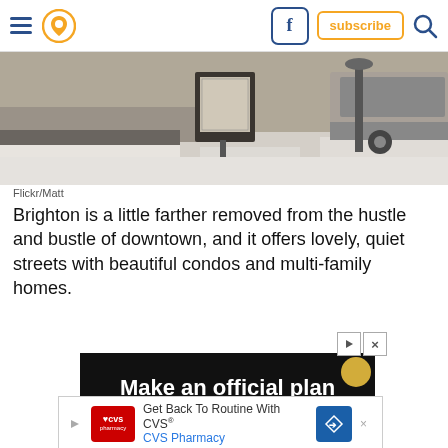Navigation header with hamburger menu, location pin icon, Facebook button, subscribe button, search icon
[Figure (photo): Street scene in Brighton covered in snow, with a sidewalk, information board/kiosk, parked cars, and a lamppost visible in the background]
Flickr/Matt
Brighton is a little farther removed from the hustle and bustle of downtown, and it offers lovely, quiet streets with beautiful condos and multi-family homes.
[Figure (screenshot): Advertisement: Make an official plan to help protect your [content cut off], with Start now button on grey background]
[Figure (screenshot): CVS Pharmacy advertisement: Get Back To Routine With CVS®, CVS Pharmacy]